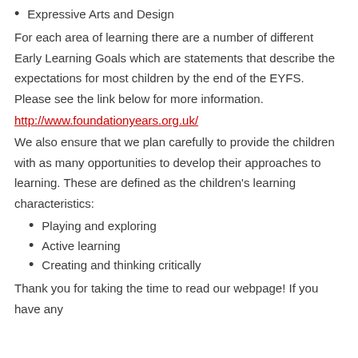Expressive Arts and Design
For each area of learning there are a number of different Early Learning Goals which are statements that describe the expectations for most children by the end of the EYFS. Please see the link below for more information.
http://www.foundationyears.org.uk/
We also ensure that we plan carefully to provide the children with as many opportunities to develop their approaches to learning. These are defined as the children's learning characteristics:
Playing and exploring
Active learning
Creating and thinking critically
Thank you for taking the time to read our webpage! If you have any